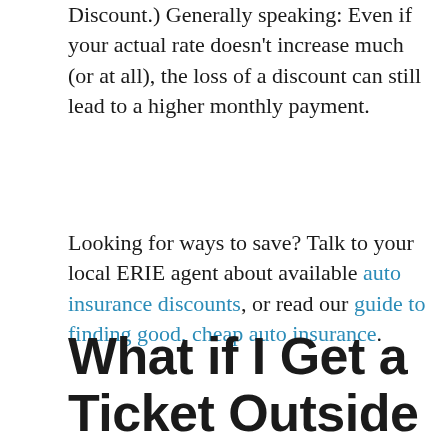Discount.) Generally speaking: Even if your actual rate doesn't increase much (or at all), the loss of a discount can still lead to a higher monthly payment.
Looking for ways to save? Talk to your local ERIE agent about available auto insurance discounts, or read our guide to finding good, cheap auto insurance.
What if I Get a Ticket Outside of My Home State?